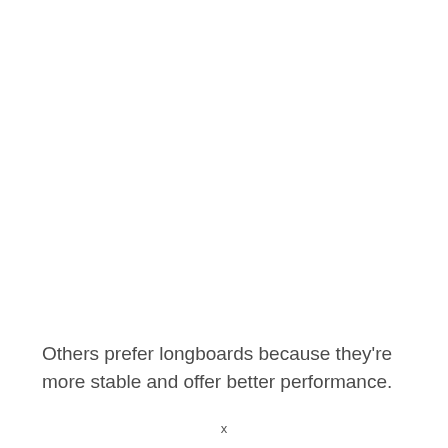Others prefer longboards because they're more stable and offer better performance.
x